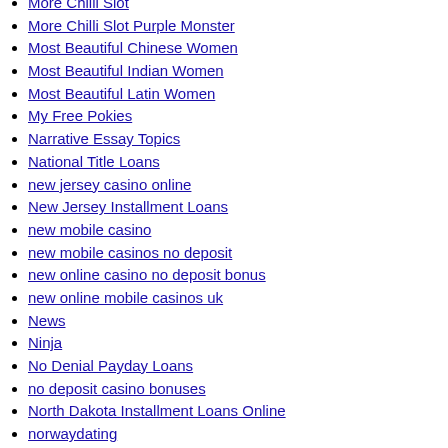More Chilli Slot
More Chilli Slot Purple Monster
Most Beautiful Chinese Women
Most Beautiful Indian Women
Most Beautiful Latin Women
My Free Pokies
Narrative Essay Topics
National Title Loans
new jersey casino online
New Jersey Installment Loans
new mobile casino
new mobile casinos no deposit
new online casino no deposit bonus
new online mobile casinos uk
News
Ninja
No Denial Payday Loans
no deposit casino bonuses
North Dakota Installment Loans Online
norwaydating
Nude Latin Bride
oformit onlain kredit na kartu
Old Asian Ladies
Older Latin Brides
One Hour Payday Loan
Online Bride